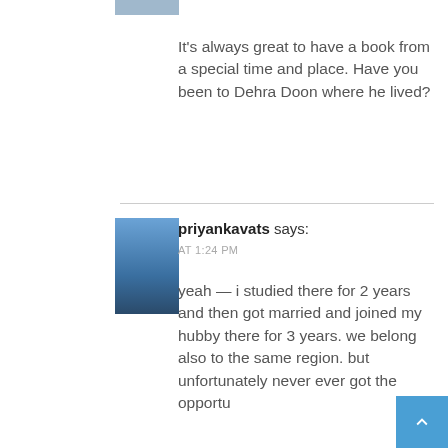[Figure (photo): Partial avatar image at top of page]
It's always great to have a book from a special time and place. Have you been to Dehra Doon where he lived?
[Figure (photo): Avatar photo of priyankavats - person sitting on a boat with blue water background]
priyankavats says:
AT 1:24 PM
yeah — i studied there for 2 years and then got married and joined my hubby there for 3 years. we belong also to the same region. but unfortunately never ever got the opportu... to meet Mr Ruskin Bond. but